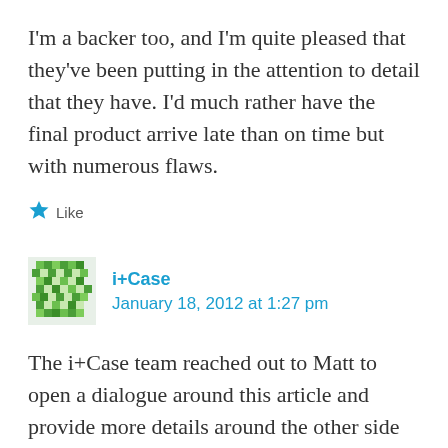I'm a backer too, and I'm quite pleased that they've been putting in the attention to detail that they have. I'd much rather have the final product arrive late than on time but with numerous flaws.
★ Like
i+Case
January 18, 2012 at 1:27 pm
The i+Case team reached out to Matt to open a dialogue around this article and provide more details around the other side of the story. We have yet to get a response. Perhaps posting